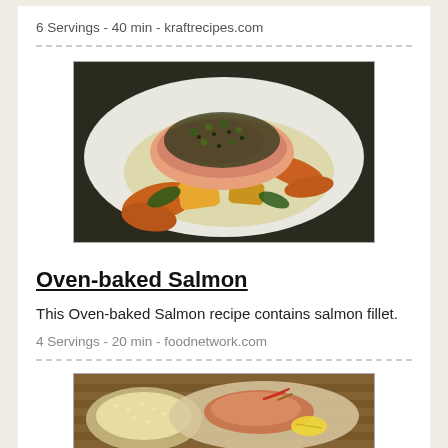6 Servings - 40 min - kraftrecipes.com
[Figure (photo): Oven-baked salmon fillet on a white plate with roasted vegetables including carrots and potatoes, topped with capers and herbs]
Oven-baked Salmon
This Oven-baked Salmon recipe contains salmon fillet.
4 Servings - 20 min - foodnetwork.com
[Figure (photo): Plate with salmon fillet, rice or grain side dish, and garnish on a wooden surface]